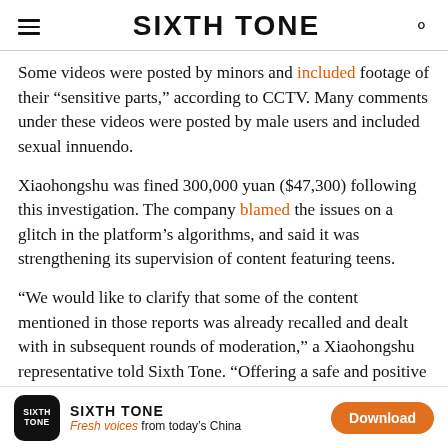SIXTH TONE
Some videos were posted by minors and included footage of their “sensitive parts,” according to CCTV. Many comments under these videos were posted by male users and included sexual innuendo.
Xiaohongshu was fined 300,000 yuan ($47,300) following this investigation. The company blamed the issues on a glitch in the platform’s algorithms, and said it was strengthening its supervision of content featuring teens.
“We would like to clarify that some of the content mentioned in those reports was already recalled and dealt with in subsequent rounds of moderation,” a Xiaohongshu representative told Sixth Tone. “Offering a safe and positive
SIXTH TONE | Fresh voices from today’s China | Download